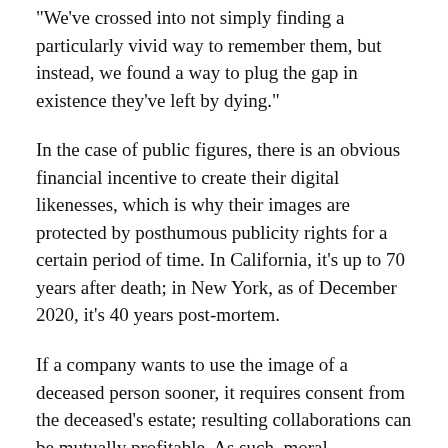"We've crossed into not simply finding a particularly vivid way to remember them, but instead, we found a way to plug the gap in existence they've left by dying."
In the case of public figures, there is an obvious financial incentive to create their digital likenesses, which is why their images are protected by posthumous publicity rights for a certain period of time. In California, it's up to 70 years after death; in New York, as of December 2020, it's 40 years post-mortem.
If a company wants to use the image of a deceased person sooner, it requires consent from the deceased's estate; resulting collaborations can be mutually profitable. As such, moral guardianship can be complicated by financial motives.
Some artists are explicitly expressing their desires. Robin Williams, for instance, who died in 2014, filed a deed